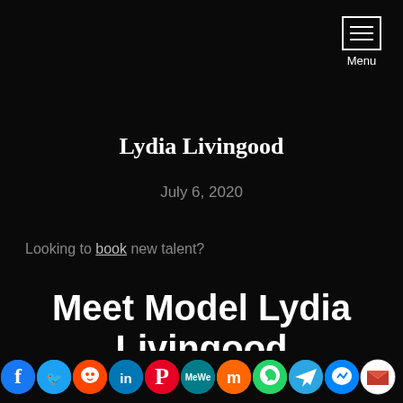Menu
Lydia Livingood
July 6, 2020
Looking to book new talent?
Meet Model Lydia Livingood
[Figure (other): Social sharing icons bar at bottom: Facebook, Twitter, Reddit, LinkedIn, Pinterest, MeWe, Mix, WhatsApp, Telegram, Messenger, Gmail, More]